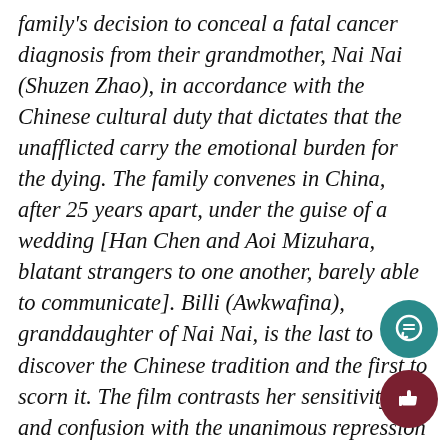family's decision to conceal a fatal cancer diagnosis from their grandmother, Nai Nai (Shuzen Zhao), in accordance with the Chinese cultural duty that dictates that the unafflicted carry the emotional burden for the dying. The family convenes in China, after 25 years apart, under the guise of a wedding [Han Chen and Aoi Mizuhara, blatant strangers to one another, barely able to communicate]. Billi (Awkwafina), granddaughter of Nai Nai, is the last to discover the Chinese tradition and the first to scorn it. The film contrasts her sensitivity and confusion with the unanimous repression of her family, making the duped but jubilant Nai Nai, ecstatic over her family's reunion, all the more painful to endure. The family's knowing frowns and verbal tip-toing, tried by Nai Nai's excitement, make the film sweet and genuine, subtle and disturbing. Billi, a young creative used the gushing expressivity of New York City, wrestles
[Figure (other): Teal circular comment/chat button icon in bottom right area]
[Figure (other): Dark red circular thumbs-up/like button icon in bottom right corner]